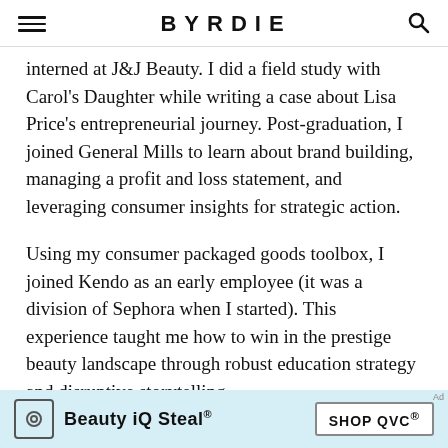BYRDIE
interned at J&J Beauty. I did a field study with Carol's Daughter while writing a case about Lisa Price's entrepreneurial journey. Post-graduation, I joined General Mills to learn about brand building, managing a profit and loss statement, and leveraging consumer insights for strategic action.
Using my consumer packaged goods toolbox, I joined Kendo as an early employee (it was a division of Sephora when I started). This experience taught me how to win in the prestige beauty landscape through robust education strategy and disruptive storytelling.
[Figure (infographic): QVC advertisement banner: Beauty iQ Steal with SHOP QVC button on light blue background]